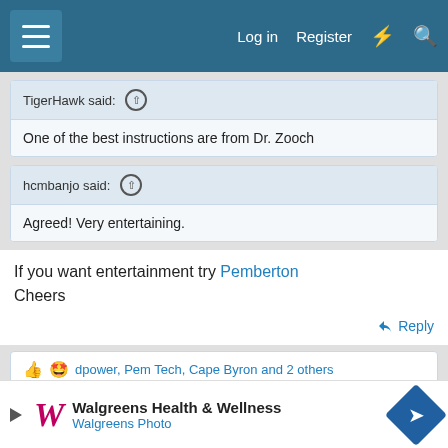Log in  Register
TigerHawk said: ↑
One of the best instructions are from Dr. Zooch
hcmbanjo said: ↑
Agreed! Very entertaining.
If you want entertainment try Pemberton
Cheers
Reply
dpower, Pem Tech, Cape Byron and 2 others
[Figure (screenshot): Walgreens Health & Wellness advertisement banner with Walgreens logo and navigation arrow icon]